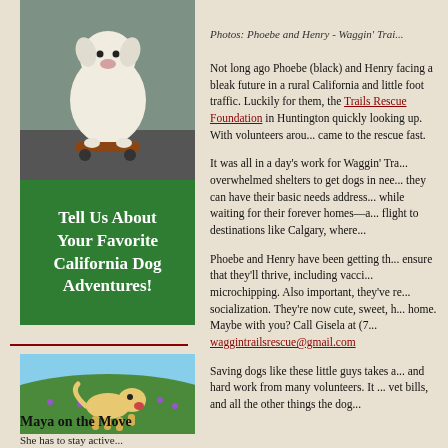[Figure (photo): White fluffy dog sitting on a skateboard on pavement]
[Figure (infographic): Green banner with white text: Tell Us About Your Favorite California Dog Adventures!]
Photos: Phoebe and Henry - Waggin' Trails Rescue Foundation
Not long ago Phoebe (black) and Henry facing a bleak future in a rural California and little foot traffic. Luckily for them, the Trails Rescue Foundation in Huntington quickly looking up. With volunteers around came to the rescue fast.
It was all in a day's work for Waggin' Tra overwhelmed shelters to get dogs in need they can have their basic needs addressed while waiting for their forever homes—a flight to destinations like Calgary, where
Phoebe and Henry have been getting the ensure that they'll thrive, including vacc microchipping. Also important, they've re socialization. They're now cute, sweet, h home. Maybe with you? Call Gisela at (7 waggintrailsrescue@gmail.com
Saving dogs like these little guys takes a and hard work from many volunteers. It vet bills, and all the other things the dog
[Figure (photo): Yellow Labrador dog running in a green field with purple flowers]
Maya on the Move
She has to stay active...